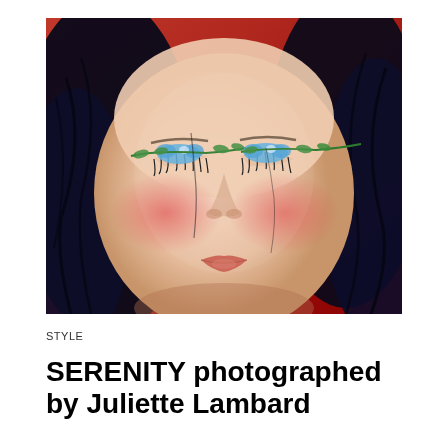[Figure (photo): Close-up portrait of a woman with closed eyes, dramatic floral eye makeup featuring blue flowers and green leaves across her eyelids, dark navy hair, rosy cheeks, glossy lips, against a red background.]
STYLE
SERENITY photographed by Juliette Lambard